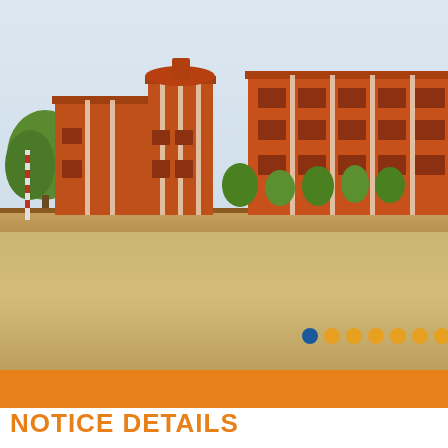[Figure (photo): Photograph of a red/terracotta multi-storey school or college building with white trim, surrounded by trees and a boundary wall, in front of a large sandy open ground. Sky is pale blue-grey. A row of carousel indicator dots (one blue, rest orange) appears at the bottom right of the image.]
NOTICE DETAILS